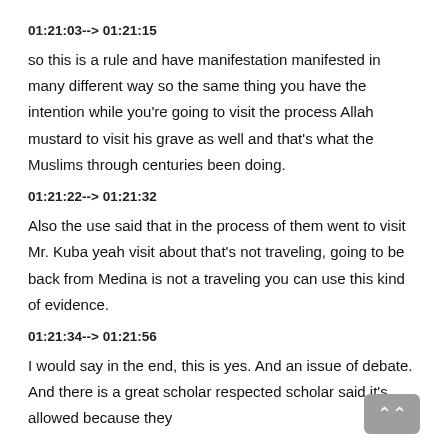01:21:03--> 01:21:15
so this is a rule and have manifestation manifested in many different way so the same thing you have the intention while you're going to visit the process Allah mustard to visit his grave as well and that's what the Muslims through centuries been doing.
01:21:22--> 01:21:32
Also the use said that in the process of them went to visit Mr. Kuba yeah visit about that's not traveling, going to be back from Medina is not a traveling you can use this kind of evidence.
01:21:34--> 01:21:56
I would say in the end, this is yes. And an issue of debate. And there is a great scholar respected scholar said it's allowed because they